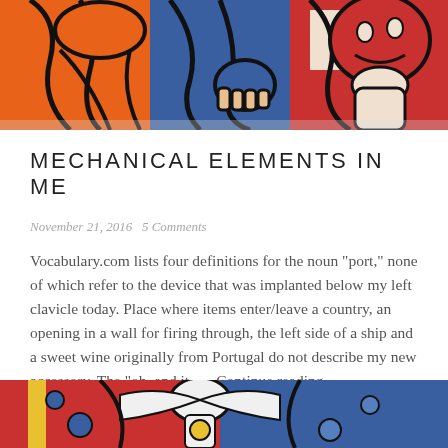[Figure (illustration): Colorful abstract painting with bold black outlines showing figures in orange, blue, red and white colors — top portion of a Fernand Léger-style artwork]
MECHANICAL ELEMENTS IN ME
November 21, 2016   5 Comments
Vocabulary.com lists four definitions for the noun "port," none of which refer to the device that was implanted below my left clavicle today. Place where items enter/leave a country, an opening in a wall for firing through, the left side of a ship and a sweet wine originally from Portugal do not describe my new accessory. The "oh, and it . . . Continue reading
[Figure (illustration): Colorful abstract painting with white angel-like figure against red, blue and yellow background — bottom portion of an artwork]